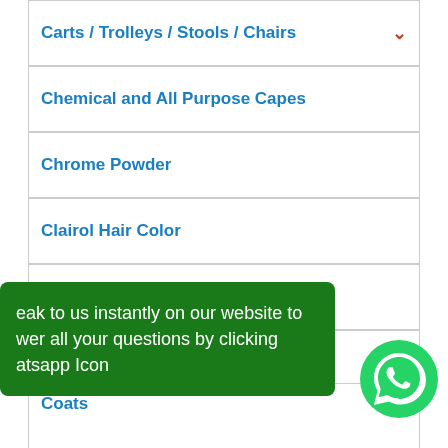Carts / Trolleys / Stools / Chairs
Chemical and All Purpose Capes
Chrome Powder
Clairol Hair Color
Clean & Easy Wax
Clippers / Trimmers / Hair
Clubman
CND Acrylic
[Figure (infographic): Green WhatsApp promotional overlay with text: 'eak to us instantly on our website to wer all your questions by clicking atsapp Icon' and a WhatsApp icon circle on the right]
Coats